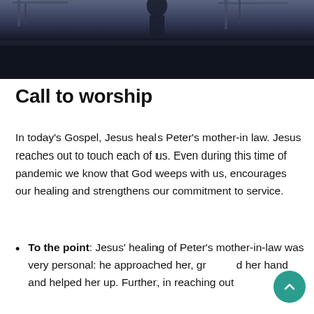[Figure (photo): Dark banner photo at top of page, showing an outdoor scene with structures, dark blue/navy tones, fading to solid dark background at bottom.]
Call to worship
In today’s Gospel, Jesus heals Peter’s mother-in law. Jesus reaches out to touch each of us. Even during this time of pandemic we know that God weeps with us, encourages our healing and strengthens our commitment to service.
To the point: Jesus’ healing of Peter’s mother-in-law was very personal: he approached her, grabbed her hand and helped her up. Further, in reaching out